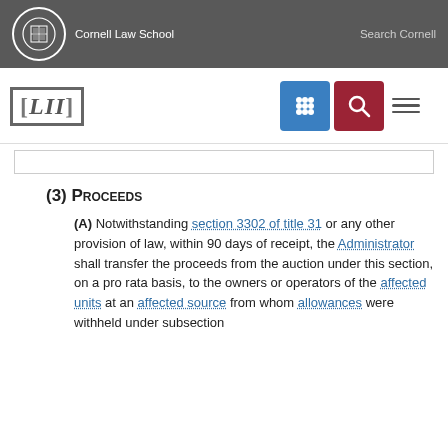Cornell Law School | Search Cornell
[LII]
(3) Proceeds
(A) Notwithstanding section 3302 of title 31 or any other provision of law, within 90 days of receipt, the Administrator shall transfer the proceeds from the auction under this section, on a pro rata basis, to the owners or operators of the affected units at an affected source from whom allowances were withheld under subsection (b). No funds transferred from a